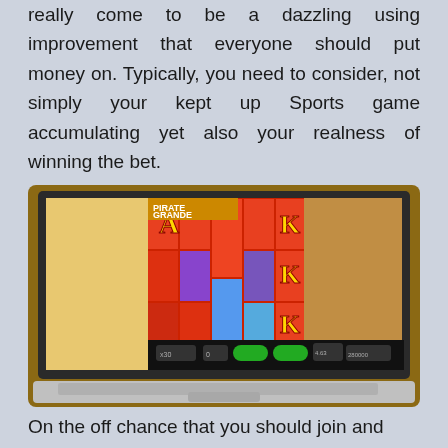really come to be a dazzling using improvement that everyone should put money on. Typically, you need to consider, not simply your kept up Sports game accumulating yet also your realness of winning the bet.
[Figure (photo): A MacBook laptop on a wooden table displaying a colorful slot machine game called Pirate Grande with playing card symbols A, K on a red background.]
On the off chance that you should join and